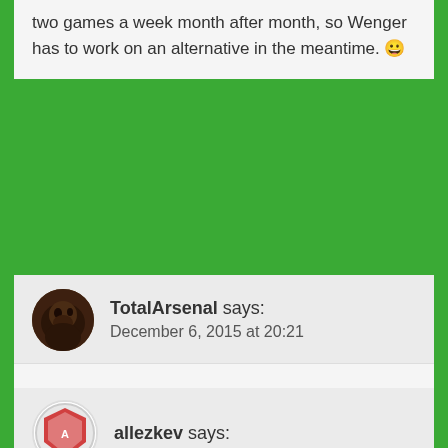two games a week month after month, so Wenger has to work on an alternative in the meantime. 😀
TotalArsenal says:
December 6, 2015 at 20:21
Gibbs as DM is an option for me, 84.

Yes, 17HT, we were much stronger from the left, which has been the case since Ramsey's injury.
allezkev says: